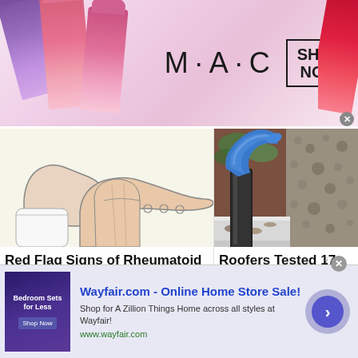[Figure (photo): MAC cosmetics advertisement banner with lipsticks on left (purple, pink shades), MAC logo text in center, SHOP NOW box, and red lipstick on right]
[Figure (illustration): Line art illustration of two hands, one pointing at the other's palm, on white background — related to Rheumatoid Arthritis article]
Red Flag Signs of Rheumatoid Arthritis...
Rheumatoid Arthritis | S... | Sponsored
[Figure (photo): Photo of a blue rubber/silicone elbow pipe fitting connected to a black downspout in a house gutter filled with debris — gutter guard article]
Roofers Tested 17 Gutter Guards... Here's What...
LeafFilter Partner | Sponsored
[Figure (photo): Partial view of a mascara brush with black and white striped handle at bottom of page]
[Figure (screenshot): Wayfair.com advertisement banner with thumbnail of bedroom furniture, title, description and arrow button]
Wayfair.com - Online Home Store Sale!
Shop for A Zillion Things Home across all styles at Wayfair!
www.wayfair.com